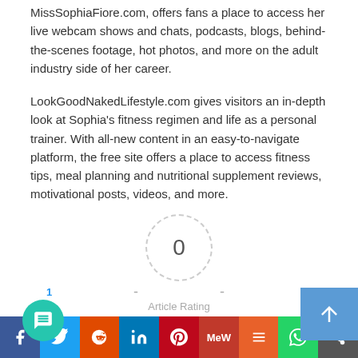MissSophiaFiore.com, offers fans a place to access her live webcam shows and chats, podcasts, blogs, behind-the-scenes footage, hot photos, and more on the adult industry side of her career.
LookGoodNakedLifestyle.com gives visitors an in-depth look at Sophia's fitness regimen and life as a personal trainer. With all-new content in an easy-to-navigate platform, the free site offers a place to access fitness tips, meal planning and nutritional supplement reviews, motivational posts, videos, and more.
[Figure (other): Article rating widget showing a dashed circle with the number 0 inside, dashes on either side, an 'Article Rating' label below, and five empty star icons for user rating.]
[Figure (other): Social sharing bar at the bottom with buttons for Facebook, Twitter, Reddit, LinkedIn, Pinterest, MeWe, Mix, WhatsApp, and a share icon.]